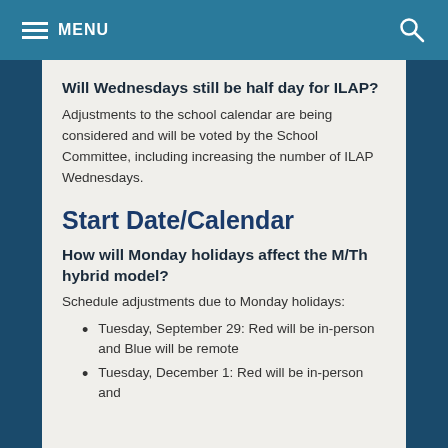MENU
Will Wednesdays still be half day for ILAP?
Adjustments to the school calendar are being considered and will be voted by the School Committee, including increasing the number of ILAP Wednesdays.
Start Date/Calendar
How will Monday holidays affect the M/Th hybrid model?
Schedule adjustments due to Monday holidays:
Tuesday, September 29: Red will be in-person and Blue will be remote
Tuesday, December 1: Red will be in-person and